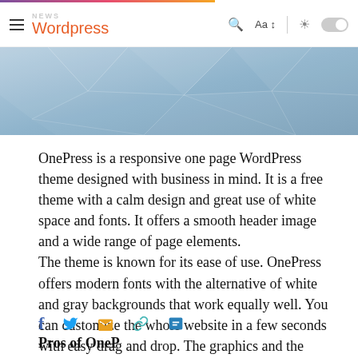NEWS Wordpress — navigation bar with search, font size, brightness toggle
[Figure (photo): Abstract geometric blue/gray architectural header image with triangular patterns]
OnePress is a responsive one page WordPress theme designed with business in mind. It is a free theme with a calm design and great use of white space and fonts. It offers a smooth header image and a wide range of page elements.
The theme is known for its ease of use. OnePress offers modern fonts with the alternative of white and gray backgrounds that work equally well. You can customize the whole website in a few seconds with easy drag and drop. The graphics and the animations in the theme add a little interest to the optional parallax elem
Pros of OneP